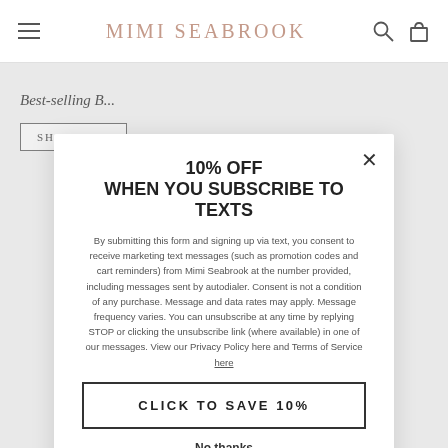MIMI SEABROOK
Best-selling B... SHOP NOW
10% OFF
WHEN YOU SUBSCRIBE TO TEXTS
By submitting this form and signing up via text, you consent to receive marketing text messages (such as promotion codes and cart reminders) from Mimi Seabrook at the number provided, including messages sent by autodialer. Consent is not a condition of any purchase. Message and data rates may apply. Message frequency varies. You can unsubscribe at any time by replying STOP or clicking the unsubscribe link (where available) in one of our messages. View our Privacy Policy here and Terms of Service here
CLICK TO SAVE 10%
No thanks